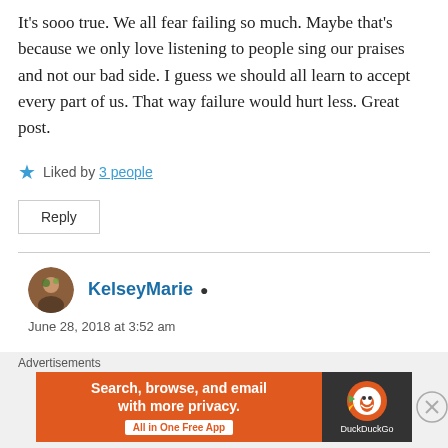It's sooo true. We all fear failing so much. Maybe that's because we only love listening to people sing our praises and not our bad side. I guess we should all learn to accept every part of us. That way failure would hurt less. Great post.
★ Liked by 3 people
Reply
Kelsey Marie
June 28, 2018 at 3:52 am
[Figure (infographic): DuckDuckGo advertisement banner: orange section with text 'Search, browse, and email with more privacy. All in One Free App', dark right section with DuckDuckGo logo]
Advertisements